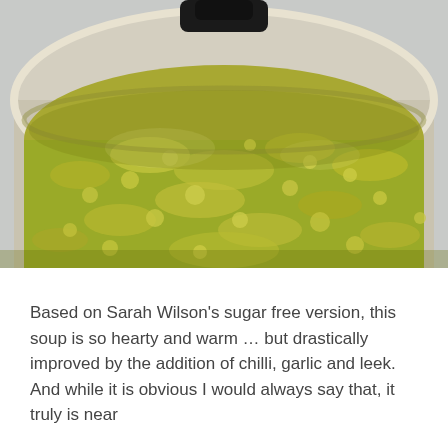[Figure (photo): Close-up photograph of a pot of green/yellow lentil or split pea soup, with a dark handle visible at the top. The soup is thick and chunky, filling a cream-coloured round pot.]
Based on Sarah Wilson's sugar free version, this soup is so hearty and warm ... but drastically improved by the addition of chilli, garlic and leek. And while it is obvious I would always say that, it truly is near